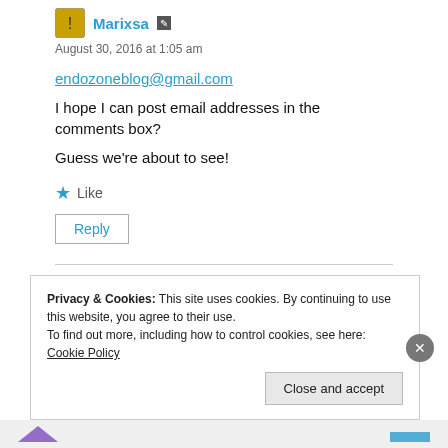Marixsa
August 30, 2016 at 1:05 am
endozoneblog@gmail.com
I hope I can post email addresses in the comments box?
Guess we're about to see!
Like
Reply
Privacy & Cookies: This site uses cookies. By continuing to use this website, you agree to their use.
To find out more, including how to control cookies, see here: Cookie Policy
Close and accept